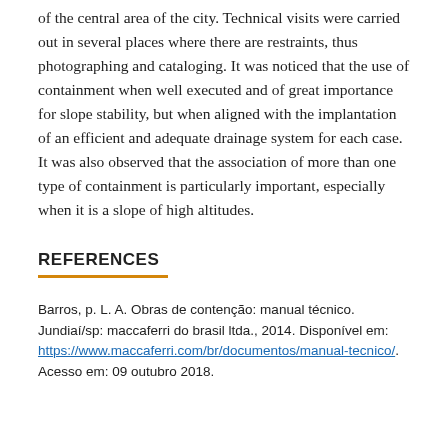of the central area of the city. Technical visits were carried out in several places where there are restraints, thus photographing and cataloging. It was noticed that the use of containment when well executed and of great importance for slope stability, but when aligned with the implantation of an efficient and adequate drainage system for each case. It was also observed that the association of more than one type of containment is particularly important, especially when it is a slope of high altitudes.
REFERENCES
Barros, p. L. A. Obras de contenção: manual técnico. Jundiaí/sp: maccaferri do brasil ltda., 2014. Disponível em: https://www.maccaferri.com/br/documentos/manual-tecnico/. Acesso em: 09 outubro 2018.